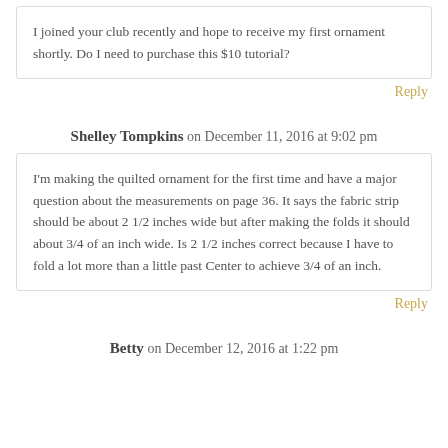I joined your club recently and hope to receive my first ornament shortly. Do I need to purchase this $10 tutorial?
Reply
Shelley Tompkins on December 11, 2016 at 9:02 pm
I'm making the quilted ornament for the first time and have a major question about the measurements on page 36. It says the fabric strip should be about 2 1/2 inches wide but after making the folds it should about 3/4 of an inch wide. Is 2 1/2 inches correct because I have to fold a lot more than a little past Center to achieve 3/4 of an inch.
Reply
Betty on December 12, 2016 at 1:22 pm